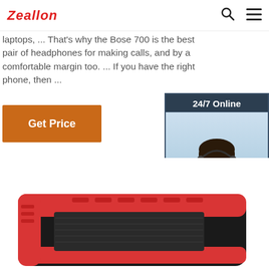Zeallon
laptops, ... That's why the Bose 700 is the best pair of headphones for making calls, and by a comfortable margin too. ... If you have the right phone, then ...
[Figure (other): Orange 'Get Price' button]
[Figure (other): Chat widget with '24/7 Online', photo of customer service representative with headset, 'Click here for free chat!' text, and orange QUOTATION button]
[Figure (photo): Red and black Bluetooth speaker product photo, partially cropped at bottom of page]